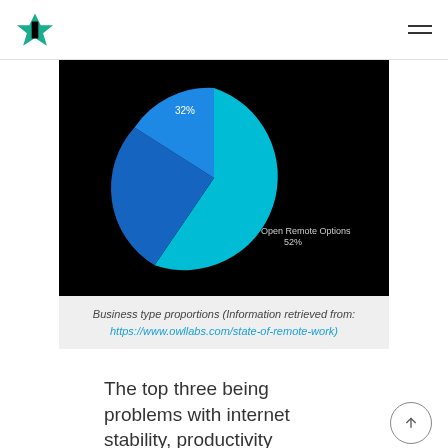[Figure (pie-chart): Pie chart on black background showing business type proportions. Teal/cyan slice labeled Open Remote Options 52%, dark blue slice labeled 32%.]
Business type proportions (Information retrieved from: https://www.owllabs.com/state-of-remote-work)
The top three being problems with internet stability, productivity obstacles, and faulty or